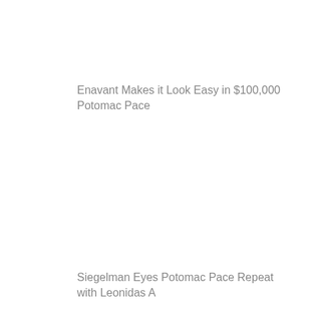Enavant Makes it Look Easy in $100,000 Potomac Pace
Siegelman Eyes Potomac Pace Repeat with Leonidas A
This Is The Plan Eyes Redemption in Sunday's Potomac Pace
Allywag Hanover Headlines Sunday's $100,000 Potomac Pace